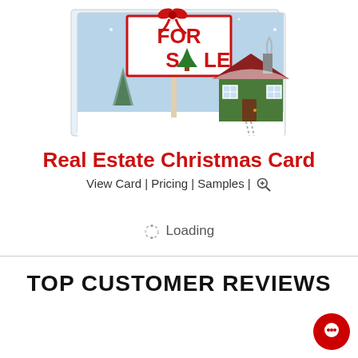[Figure (illustration): A Christmas-themed real estate card illustration showing a 'FOR SALE' sign with a Christmas tree replacing the letter A, decorated with a red bow, and a green house in a snowy winter scene. The card has a folded greeting card format.]
Real Estate Christmas Card
View Card | Pricing | Samples | 🔍
⏳ Loading
TOP CUSTOMER REVIEWS